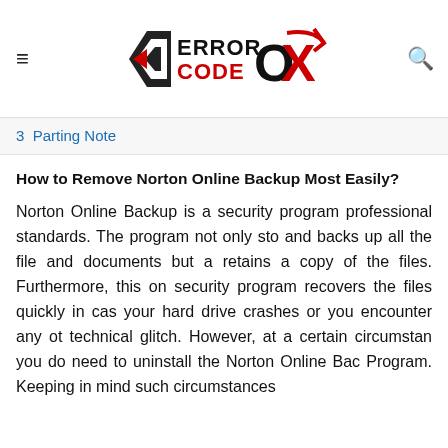≡  ERROR CODE OX  🔍
3  Parting Note
How to Remove Norton Online Backup Most Easily?
Norton Online Backup is a security program professional standards. The program not only sto and backs up all the file and documents but a retains a copy of the files. Furthermore, this on security program recovers the files quickly in cas your hard drive crashes or you encounter any ot technical glitch. However, at a certain circumstan you do need to uninstall the Norton Online Bac Program. Keeping in mind such circumstances